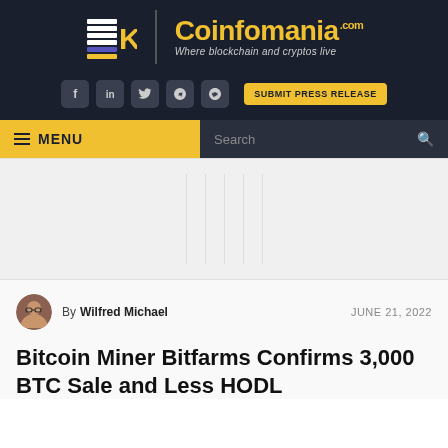[Figure (logo): Coinfomania logo with stacked coin icon and text 'Coinfomania.com - Where blockchain and cryptos live' on dark background]
Social icons: f, in, twitter, link, telegram | SUBMIT PRESS RELEASE
≡ MENU | Search
By Wilfred Michael  JUNE 21, 2022
Bitcoin Miner Bitfarms Confirms 3,000 BTC Sale and Less HODL